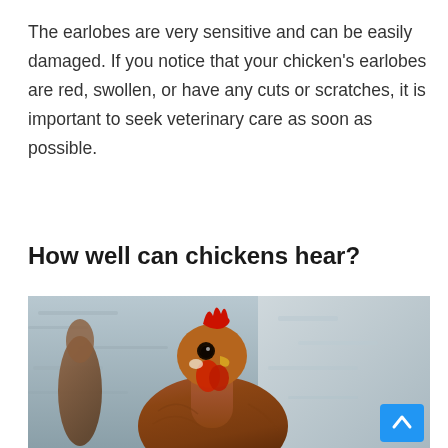The earlobes are very sensitive and can be easily damaged. If you notice that your chicken's earlobes are red, swollen, or have any cuts or scratches, it is important to seek veterinary care as soon as possible.
How well can chickens hear?
[Figure (photo): Close-up photograph of a brown chicken (hen) facing the camera with a red comb and wattle, set against a blurred grey stone/concrete background. Another brown chicken is partially visible in the background on the left side. A scroll-to-top button (blue square with white chevron) is overlaid in the bottom-right corner.]